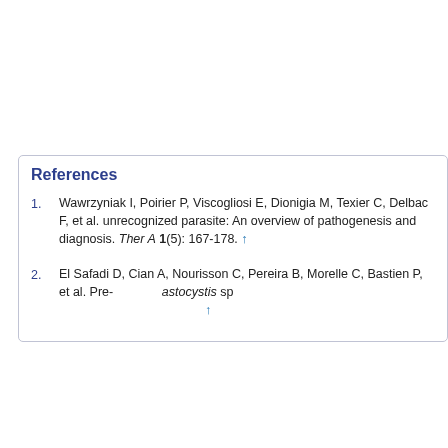References
Wawrzyniak I, Poirier P, Viscogliosi E, Dionigia M, Texier C, Delbac F, et al. [unrecognized parasite: An overview of pathogenesis and diagnosis]. Ther A 1(5): 167-178.
El Safadi D, Cian A, Nourisson C, Pereira B, Morelle C, Bastien P, et al. Pre- ...astocystis sp- ...
This website uses cookies. By continuing to use this website you are giving consent to cookies being used. For information on cookies and how you can disable them visit our
Privacy and Cookie Policy.
AGREE & PROCEED